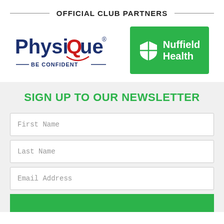OFFICIAL CLUB PARTNERS
[Figure (logo): PhysiQue logo with tagline BE CONFIDENT in blue and red]
[Figure (logo): Nuffield Health logo on green background with shield icon]
SIGN UP TO OUR NEWSLETTER
First Name
Last Name
Email Address